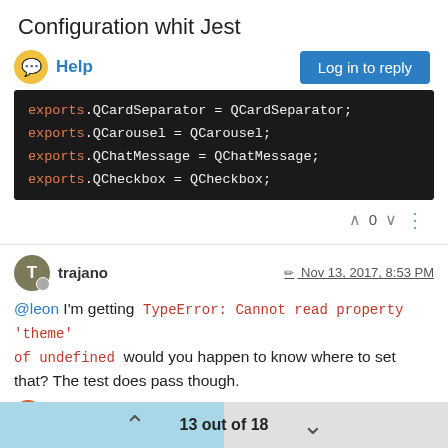Configuration whit Jest
Help
[Figure (screenshot): Code block showing: exports.QCardSeparator = QCardSeparator; exports.QCarousel = QCarousel; exports.QChatMessage = QChatMessage; exports.QCheckbox = QCheckbox;]
trajano  Nov 13, 2017, 8:53 PM
@leon I'm getting TypeError: Cannot read property 'theme' of undefined would you happen to know where to set that? The test does pass though.
1 Reply